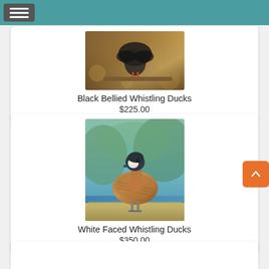Navigation menu header bar
[Figure (photo): Black Bellied Whistling Ducks perched on a branch, dark bird with reddish feet visible, warm brown bokeh background]
Black Bellied Whistling Ducks
$225.00
[Figure (photo): White Faced Whistling Duck standing on grassy ground near water, brownish body with white face patch and dark head, blue water background]
White Faced Whistling Ducks
$350.00